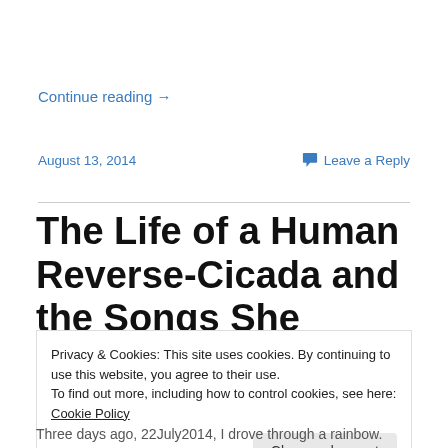Continue reading →
August 13, 2014
Leave a Reply
The Life of a Human Reverse-Cicada and the Songs She
Privacy & Cookies: This site uses cookies. By continuing to use this website, you agree to their use.
To find out more, including how to control cookies, see here: Cookie Policy
Close and accept
Three days ago, 22July2014, I drove through a rainbow.